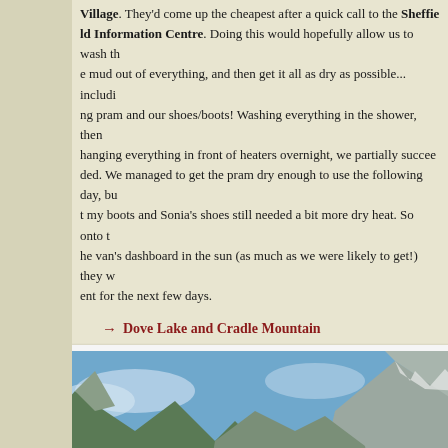Village. They'd come up the cheapest after a quick call to the Sheffield Information Centre. Doing this would hopefully allow us to wash the mud out of everything, and then get it all as dry as possible... including pram and our shoes/boots! Washing everything in the shower, then hanging everything in front of heaters overnight, we partially succeeded. We managed to get the pram dry enough to use the following day, but my boots and Sonia's shoes still needed a bit more dry heat. So onto the van's dashboard in the sun (as much as we were likely to get!) they went for the next few days.
→ Dove Lake and Cradle Mountain
[Figure (photo): Family photo at Dove Lake with Cradle Mountain visible in the background. Two adults and a child with a pram standing on rocky shore near the lake. Mountains with some snow visible, blue sky, reflections in the lake water.]
[Figure (photo): Wide landscape photo of Cradle Mountain reflected in Dove Lake. Rocky terrain, low scrubby vegetation, mountains reflected clearly in still water, blue sky with some clouds.]